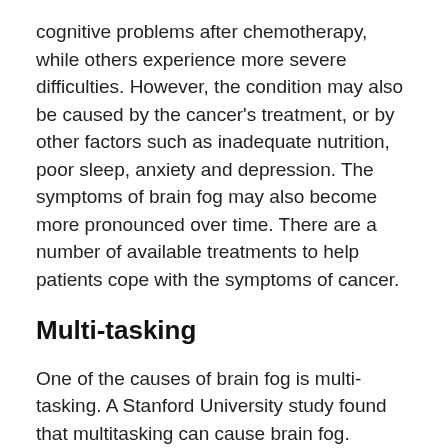cognitive problems after chemotherapy, while others experience more severe difficulties. However, the condition may also be caused by the cancer's treatment, or by other factors such as inadequate nutrition, poor sleep, anxiety and depression. The symptoms of brain fog may also become more pronounced over time. There are a number of available treatments to help patients cope with the symptoms of cancer.
Multi-tasking
One of the causes of brain fog is multi-tasking. A Stanford University study found that multitasking can cause brain fog. People who are constantly on the go often struggle to organize their thoughts and filter out unnecessary information. They also have trouble